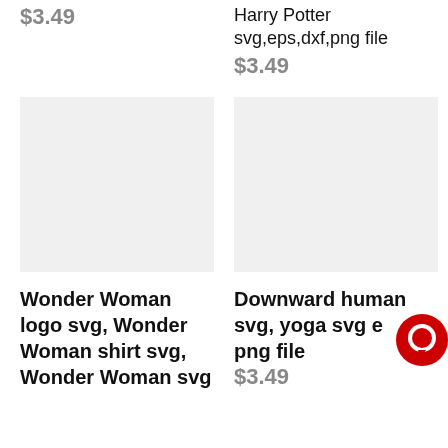$3.49
Harry Potter
svg,eps,dxf,png file
$3.49
[Figure (other): Product image placeholder for Wonder Woman logo svg, light gray background]
[Figure (other): Product image placeholder for Downward human svg, yoga svg, light gray background]
Wonder Woman logo svg, Wonder Woman shirt svg, Wonder Woman svg
Downward human svg, yoga svg eps,dxf,png file
$3.49